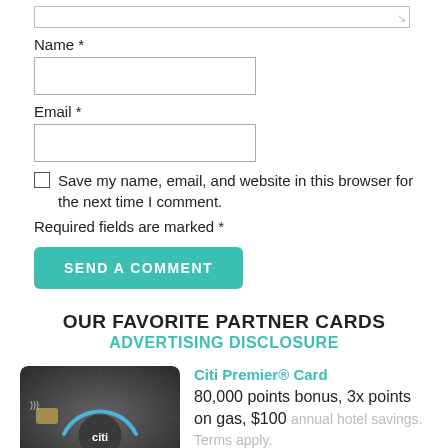Name *
Email *
Save my name, email, and website in this browser for the next time I comment.
Required fields are marked *
SEND A COMMENT
OUR FAVORITE PARTNER CARDS
ADVERTISING DISCLOSURE
[Figure (photo): Citi Premier credit card image showing a dark card with blue arc design and citi logo]
Citi Premier® Card
80,000 points bonus, 3x points on gas, $100 annual hotel savings. Terms apply.